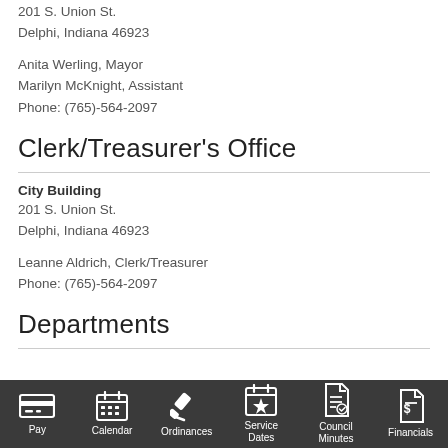201 S. Union St.
Delphi, Indiana 46923
Anita Werling, Mayor
Marilyn McKnight, Assistant
Phone: (765)-564-2097
Clerk/Treasurer's Office
City Building
201 S. Union St.
Delphi, Indiana 46923
Leanne Aldrich, Clerk/Treasurer
Phone: (765)-564-2097
Departments
Pay | Calendar | Ordinances | Service Dates | Council Minutes | Financials